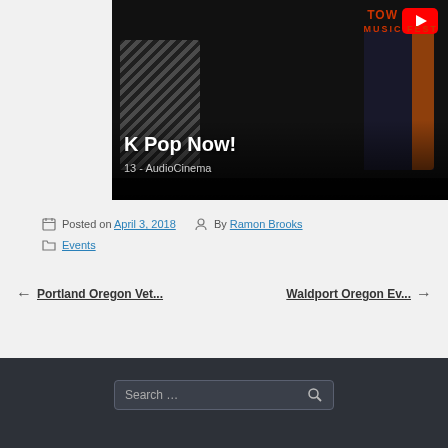[Figure (screenshot): YouTube video thumbnail showing two people in front of a 'Music Fest' banner with YouTube play button icon. Video title shows 'K Pop Now!' and subtitle '13 - AudioCinema']
Posted on April 3, 2018  By Ramon Brooks
Events
← Portland Oregon Vet...   Waldport Oregon Ev... →
Search …